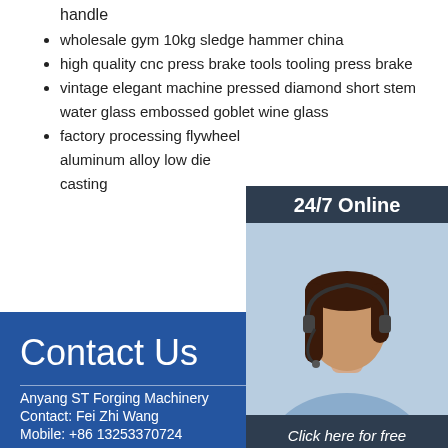handle
wholesale gym 10kg sledge hammer china
high quality cnc press brake tools tooling press brake
vintage elegant machine pressed diamond short stem water glass embossed goblet wine glass
factory processing flywheel aluminum alloy low die casting
[Figure (photo): Customer service representative wearing headset with '24/7 Online' header and 'Click here for free chat!' and QUOTATION button]
Contact Us
Anyang ST Forging Machinery
Contact: Fei Zhi Wang
Mobile: +86 13253370724
Fax: +86 13253370724
Email: contactinquiry2021@gmail.com